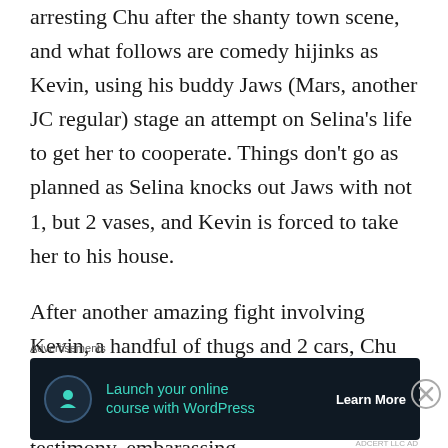arresting Chu after the shanty town scene, and what follows are comedy hijinks as Kevin, using his buddy Jaws (Mars, another JC regular) stage an attempt on Selina's life to get her to cooperate. Things don't go as planned as Selina knocks out Jaws with not 1, but 2 vases, and Kevin is forced to take her to his house.
After another amazing fight involving Kevin, a handful of thugs and 2 cars, Chu winds up getting off after his capture by Kevin when Selina sabotages her testimony, embarassing
Advertisements
[Figure (other): Advertisement banner for launching an online course with WordPress. Dark navy background with teal icon, teal headline text reading 'Launch your online course with WordPress', and a white 'Learn More' button.]